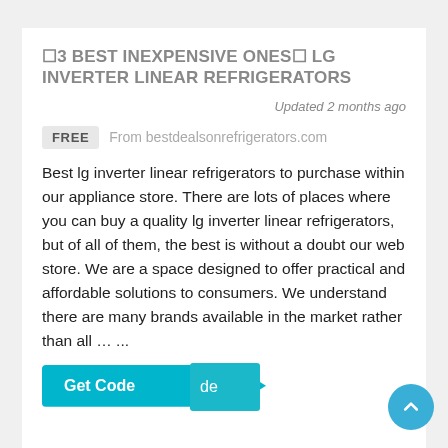⬜3 BEST INEXPENSIVE ONES⬜ LG INVERTER LINEAR REFRIGERATORS
Updated 2 months ago
FREE   From bestdealsonrefrigerators.com
Best lg inverter linear refrigerators to purchase within our appliance store. There are lots of places where you can buy a quality lg inverter linear refrigerators, but of all of them, the best is without a doubt our web store. We are a space designed to offer practical and affordable solutions to consumers. We understand there are many brands available in the market rather than all … ...